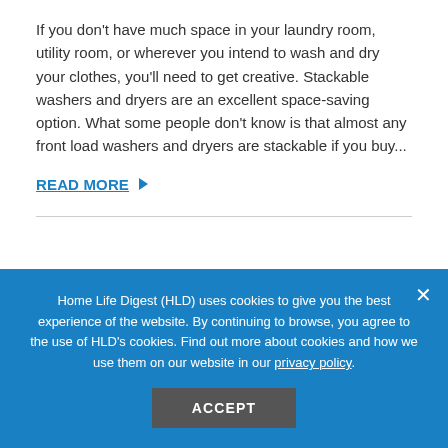If you don't have much space in your laundry room, utility room, or wherever you intend to wash and dry your clothes, you'll need to get creative. Stackable washers and dryers are an excellent space-saving option. What some people don't know is that almost any front load washers and dryers are stackable if you buy...
READ MORE ▶
[Figure (photo): Partial image strip visible at bottom of content area, appears to be a photo with diagonal stripe pattern (image loading or placeholder)]
Home Life Digest (HLD) uses cookies to give you the best experience of the website. By continuing to browse, you agree to the use of HLD's cookies. Find out more about cookies and how we use them on our website in our privacy policy.
ACCEPT